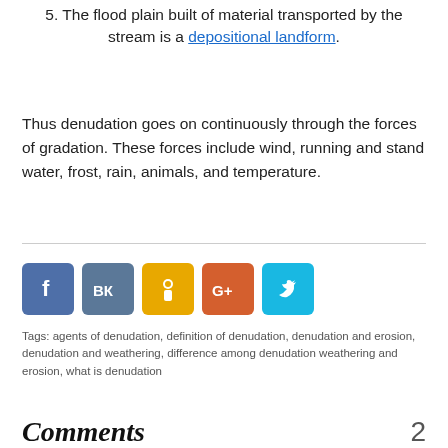5. The flood plain built of material transported by the stream is a depositional landform.
Thus denudation goes on continuously through the forces of gradation. These forces include wind, running and stand water, frost, rain, animals, and temperature.
[Figure (other): Social share buttons: Facebook (blue), VK (dark blue-grey), Odnoklassniki (yellow/orange), Google+ (orange), Twitter (cyan)]
Tags: agents of denudation, definition of denudation, denudation and erosion, denudation and weathering, difference among denudation weathering and erosion, what is denudation
Comments